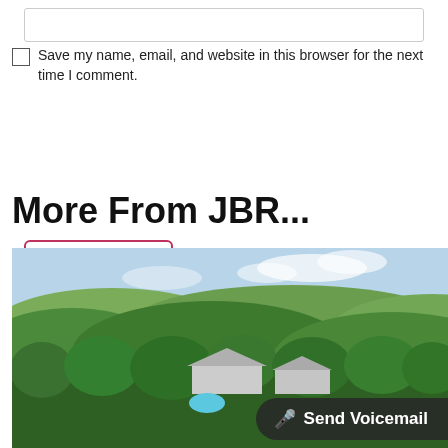[Figure (other): Empty text input box at the top of the page]
Save my name, email, and website in this browser for the next time I comment.
Post Comment
More From JBR...
[Figure (photo): Aerial photograph of a villa or resort house nestled among dense tropical greenery and hills, with a blue swimming pool visible, under a partly cloudy sky. A 'Send Voicemail' button overlay appears at the bottom right.]